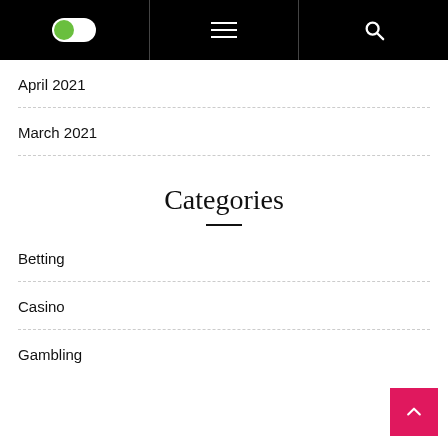Navigation header with toggle, menu, and search
April 2021
March 2021
Categories
Betting
Casino
Gambling